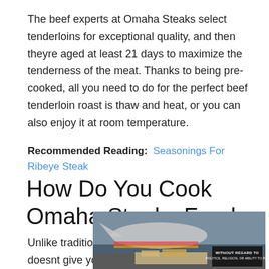The beef experts at Omaha Steaks select tenderloins for exceptional quality, and then theyre aged at least 21 days to maximize the tenderness of the meat. Thanks to being pre-cooked, all you need to do for the perfect beef tenderloin roast is thaw and heat, or you can also enjoy it at room temperature.
Recommended Reading: Seasonings For Ribeye Steak
How Do You Cook Omaha Steaks Foods
Unlike traditional meal kits, Omaha Steaks doesnt give you specific recipes to follow with their uncooked foods. And
[Figure (photo): Advertisement image showing cargo being loaded onto aircraft, with a dark badge overlay reading 'WITHOUT REGARD TO POLITICS, RELIGION, OR ABILITY TO PAY']